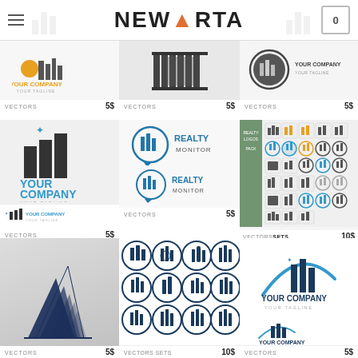NEWARTA
[Figure (logo): Real estate logo with orange sun, buildings, YOUR COMPANY YOUR TAGLINE text]
VECTORS   5$
[Figure (logo): Abstract building/columns black and white logo]
VECTORS   5$
[Figure (logo): Circular badge real estate logo YOUR COMPANY YOUR TAGLINE]
VECTORS   5$
[Figure (logo): Dark bar chart buildings YOUR COMPANY YOUR TAGLINE in blue]
[Figure (logo): Realty Monitor circular logo with buildings, two variants]
[Figure (logo): Grid set of many real estate/building vector logos]
VECTORS   5$
VECTORS   5$
VECTORSSETS   10$
[Figure (logo): Dark navy angular building/skyscraper logo]
[Figure (logo): Grid of 12 circular building/city vector logos in navy blue]
[Figure (logo): YOUR COMPANY YOUR TAGLINE building chart swoosh logo]
VECTORS   5$
VECTORS SETS   10$
VECTORS   5$